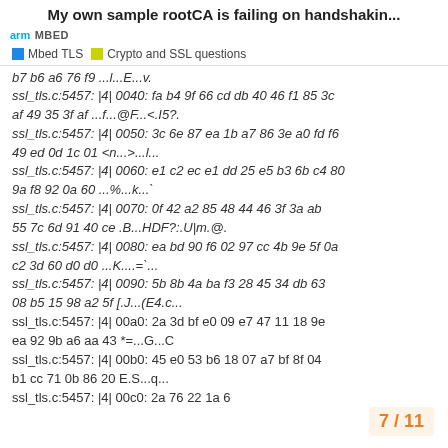My own sample rootCA is failing on handshakin...
arm MBED | Mbed TLS | Crypto and SSL questions
b7 b6 a6 76 f9 ...l...E...v.
ssl_tls.c:5457: |4| 0040: fa b4 9f 66 cd db 40 46 f1 85 3c af 49 35 3f af ...f...@F...<.I5?.
ssl_tls.c:5457: |4| 0050: 3c 6e 87 ea 1b a7 86 3e a0 fd f6 49 ed 0d 1c 01 <n...>...l...
ssl_tls.c:5457: |4| 0060: e1 c2 ec e1 dd 25 e5 b3 6b c4 80 9a f8 92 0a 60 ...%...k...`
ssl_tls.c:5457: |4| 0070: 0f 42 a2 85 48 44 46 3f 3a ab 55 7c 6d 91 40 ce .B...HDF?:.U|m.@.
ssl_tls.c:5457: |4| 0080: ea bd 90 f6 02 97 cc 4b 9e 5f 0a c2 3d 60 d0 d0 ...K....=`...
ssl_tls.c:5457: |4| 0090: 5b 8b 4a ba f3 28 45 34 db 63 08 b5 15 98 a2 5f [.J...(E4.c...
ssl_tls.c:5457: |4| 00a0: 2a 3d bf e0 09 e7 47 11 18 9e ea 92 9b a6 aa 43 *=...G...C
ssl_tls.c:5457: |4| 00b0: 45 e0 53 b6 18 07 a7 bf 8f 04 b1 cc 71 0b 86 20 E.S...q...
ssl_tls.c:5457: |4| 00c0: 2a 76 22 1a 6
7 / 11